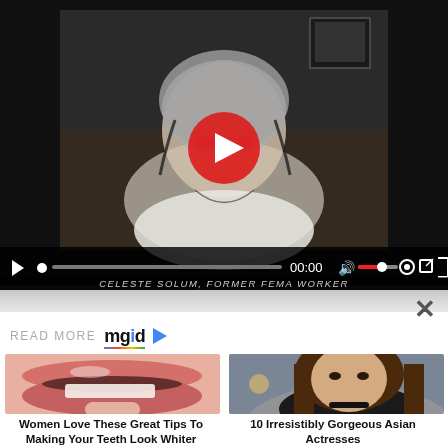[Figure (screenshot): Video player showing a woman with gray hair, glasses and headphones seated in a chair. A red play button overlay is centered on the video. Controls bar shows play button, progress bar, time 00:00, volume, settings and fullscreen icons. Caption text at bottom: CELESTE SOLUM, FORMER FEMA WORKER]
READ MORE mgid ▷
[Figure (photo): Close-up of woman's lips and lower face with a fingertip touching the lips]
[Figure (photo): Portrait of a young woman with long brown hair wearing a dark top]
Women Love These Great Tips To Making Your Teeth Look Whiter
10 Irresistibly Gorgeous Asian Actresses